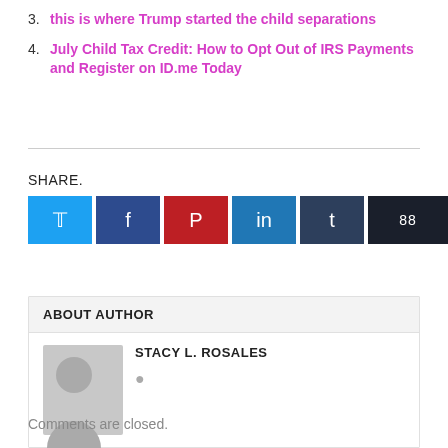3. this is where Trump started the child separations
4. July Child Tax Credit: How to Opt Out of IRS Payments and Register on ID.me Today
SHARE.
[Figure (other): Row of six social share buttons: Twitter (light blue), Facebook (dark blue), Pinterest (red), LinkedIn (medium blue), Tumblr (dark navy), and a share count button (near black with '88')]
ABOUT AUTHOR
[Figure (other): Author avatar placeholder showing a grey silhouette of a person]
STACY L. ROSALES
Comments are closed.